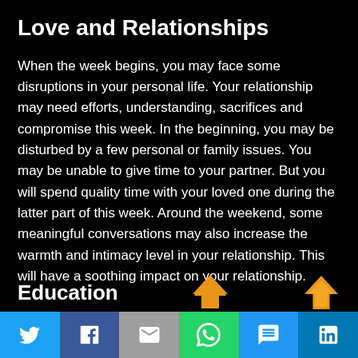Love and Relationships
When the week begins, you may face some disruptions in your personal life. Your relationship may need efforts, understanding, sacrifices and compromise this week. In the beginning, you may be disturbed by a few personal or family issues. You may be unable to give time to your partner. But you will spend quality time with your loved one during the latter part of this week. Around the weekend, some meaningful conversations may also increase the warmth and intimacy level in your relationship. This will have a soothing impact on your relationship.
Education
Social share bar: Twitter, Facebook, Email, WhatsApp, SMS, LinkedIn